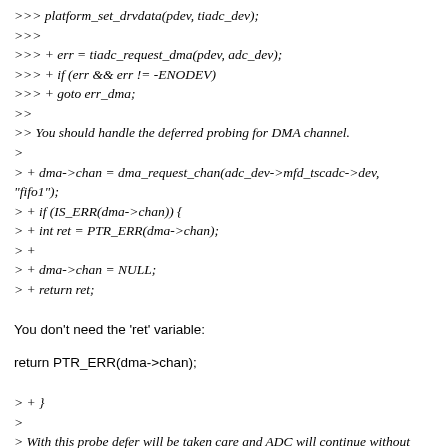>>> platform_set_drvdata(pdev, tiadc_dev);
>>>
>>> + err = tiadc_request_dma(pdev, adc_dev);
>>> + if (err && err != -ENODEV)
>>> + goto err_dma;
>>
>> You should handle the deferred probing for DMA channel.
>
> + dma->chan = dma_request_chan(adc_dev->mfd_tscadc->dev, "fifo1");
> + if (IS_ERR(dma->chan)) {
> + int ret = PTR_ERR(dma->chan);
> +
> + dma->chan = NULL;
> + return ret;
You don't need the 'ret' variable:
return PTR_ERR(dma->chan);
> + }
>
> With this probe defer will be taken care and ADC will continue without
> DMA when request channel returns -ENODEV.
I would rather have explicit check for deferred probe: